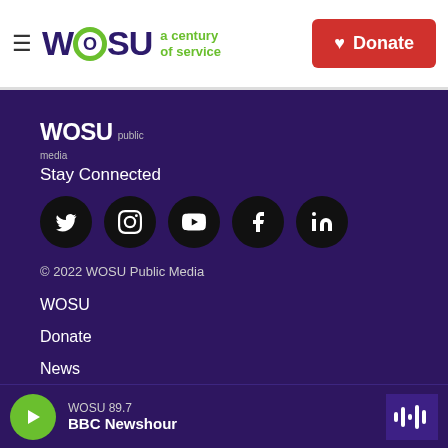[Figure (logo): WOSU logo with hamburger menu and Donate button in header]
[Figure (logo): WOSU Public Media footer logo]
Stay Connected
[Figure (infographic): Social media icons: Twitter, Instagram, YouTube, Facebook, LinkedIn]
© 2022 WOSU Public Media
WOSU
Donate
News
[Figure (infographic): Player bar with WOSU 89.7 BBC Newshour]